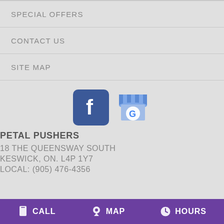SPECIAL OFFERS
CONTACT US
SITE MAP
[Figure (logo): Facebook logo icon (blue square with white 'f') and Google My Business logo icon (blue store with 'G')]
PETAL PUSHERS
18 THE QUEENSWAY SOUTH
KESWICK, ON. L4P 1Y7
LOCAL: (905) 476-4356
CALL   MAP   HOURS